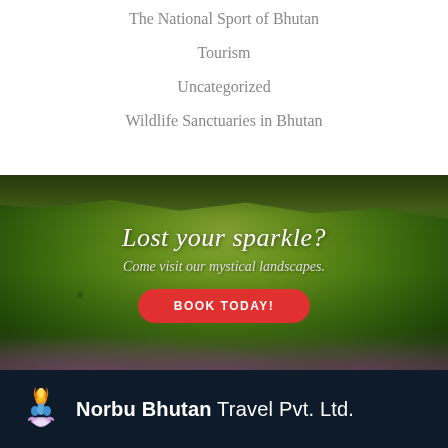The National Sport of Bhutan
Tourism
Uncategorized
Wildlife Sanctuaries in Bhutan
[Figure (photo): Scenic Bhutan landscape with green rolling hills, open meadows, and purple wildflowers in the foreground under a dark sky. Text overlay reads 'Lost your sparkle? Come visit our mystical landscapes.' with a red BOOK TODAY! button.]
Lost your sparkle?
Come visit our mystical landscapes.
BOOK TODAY!
[Figure (logo): Norbu Bhutan Travel Pvt. Ltd. logo with flame and lotus flower icon on dark navy background.]
Norbu Bhutan Travel Pvt. Ltd.